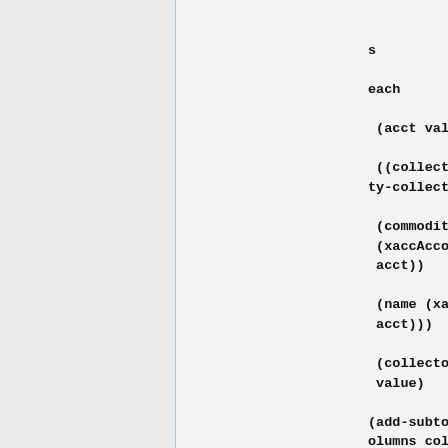(if display-all-taxes
                    (hash-for-each
                      (lambda (acct value)
                        (let ((collector (gnc:make-commodity-collector))

(commodity (xaccAccountGetCommodity acct))

(name (xaccAccountGetName acct)))

(collector 'add commodity value)
                                    (add-subtotal-row table used-columns collector

"grand-total" name)))